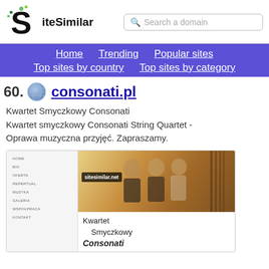[Figure (logo): SiteSimilar logo with stylized S and green dots]
Search a domain
Home   Trending   Popular sites   Top sites by country   Top sites by category
60.   consonati.pl
Kwartet Smyczkowy Consonati Kwartet smyczkowy Consonati String Quartet - Oprawa muzyczna przyjęć. Zapraszamy.
[Figure (screenshot): Screenshot of consonati.pl showing menu items (HOME, BIO, OFERTA, REPERTUAR, MUZYKA, GALERIA, WSPOŁPRACA, KONTAKT) on left and musicians photo with sitesimilar.net watermark and text Kwartet Smyczkowy Consonati]